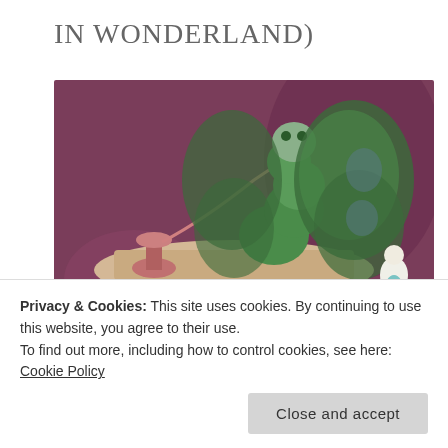IN WONDERLAND)
[Figure (illustration): Animated scene from Alice in Wonderland showing the green Caterpillar with hookah pipe sitting on a mushroom, with a small Alice figure visible in the lower right, on a purple/mauve background.]
MARCH 26, 2016  ·  1 COMMENT
I need your opinion on something. Yes, you who found this
Privacy & Cookies: This site uses cookies. By continuing to use this website, you agree to their use.
To find out more, including how to control cookies, see here: Cookie Policy
Close and accept